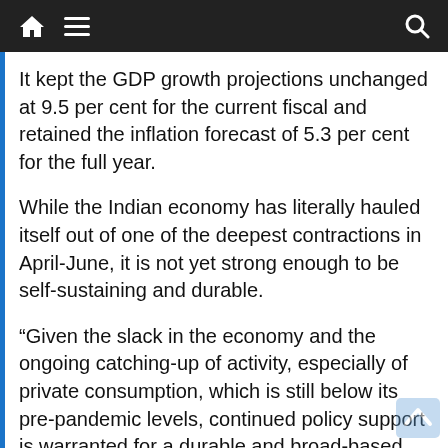Navigation bar with home, menu, and search icons
It kept the GDP growth projections unchanged at 9.5 per cent for the current fiscal and retained the inflation forecast of 5.3 per cent for the full year.
While the Indian economy has literally hauled itself out of one of the deepest contractions in April-June, it is not yet strong enough to be self-sustaining and durable.
“Given the slack in the economy and the ongoing catching-up of activity, especially of private consumption, which is still below its pre-pandemic levels, continued policy support is warranted for a durable and broad-based recovery,” Governor Shaktikanta Das said. “Our motto is to ensure soft landing that is well-timed.”